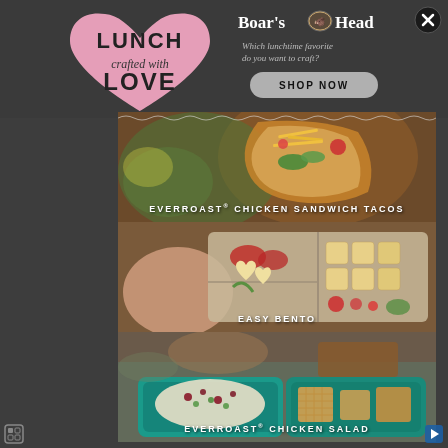[Figure (logo): Boar's Head brand logo with boar head icon between words]
Which lunchtime favorite do you want to craft?
[Figure (illustration): Pink heart shape with text 'LUNCH crafted with LOVE' in playful handwritten style]
SHOP NOW
[Figure (photo): Food photo of Everroast Chicken Sandwich Tacos - taco with chicken, cheese shreds, vegetables on dark background]
EVERROAST® CHICKEN SANDWICH TACOS
[Figure (photo): Food photo of Easy Bento - bento box with deli meats, cheese cut into flower shapes, crackers and vegetables]
EASY BENTO
[Figure (photo): Food photo of Everroast Chicken Salad - chicken salad with cranberries and herbs in teal lunch container with pretzels and crackers]
EVERROAST® CHICKEN SALAD